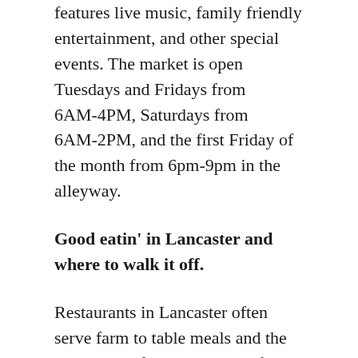features live music, family friendly entertainment, and other special events. The market is open Tuesdays and Fridays from 6AM-4PM, Saturdays from 6AM-2PM, and the first Friday of the month from 6pm-9pm in the alleyway.
Good eatin' in Lancaster and where to walk it off.
Restaurants in Lancaster often serve farm to table meals and the menus are often comprised of homestyle recipes like fried chicken, buttermilk biscuits, gravy, and more. Dienner's Country Restaurant is one of the most beloved of these restaurants to serve up the classic Dutch country fare. It is family owned and...